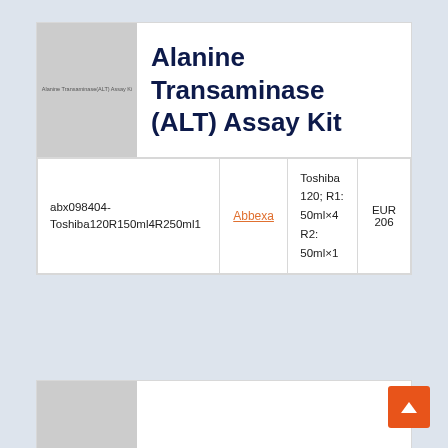[Figure (photo): Product image placeholder for Alanine Transaminase (ALT) Assay Kit, grey rectangle with small text label]
Alanine Transaminase (ALT) Assay Kit
| SKU | Brand | Specification | Price |
| --- | --- | --- | --- |
| abx098404-Toshiba120R150ml4R250ml1 | Abbexa | Toshiba 120; R1: 50ml×4 R2: 50ml×1 | EUR 206 |
[Figure (photo): Second product image placeholder, partial view, grey rectangle]